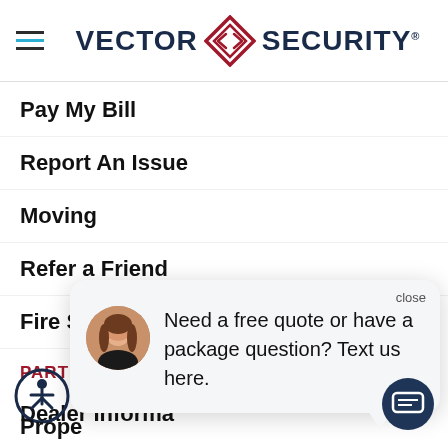[Figure (logo): Vector Security logo with diamond/arrow icon between VECTOR and SECURITY wordmark in navy blue]
Pay My Bill
Report An Issue
Moving
Refer a Friend
Fire System Ou[tage] (partially obscured)
PARTNERS
Dealer Informa[tion] (partially obscured)
Loss Prevention Foundation
IETS
[Figure (screenshot): Chat popup overlay with close button, avatar photo of woman with long brown hair, message: Need a free quote or have a package question? Text us here.]
[Figure (illustration): Accessibility icon (person in circle) at bottom left]
[Figure (illustration): Dark blue chat button circle with message icon at bottom right]
Prope [cut off at bottom]